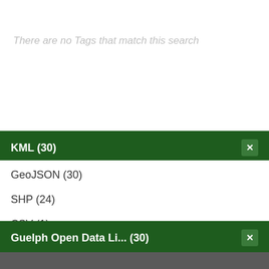There are no Tags that match this search
KML (30)
GeoJSON (30)
SHP (24)
CSV (1)
Guelph Open Data Li... (30)